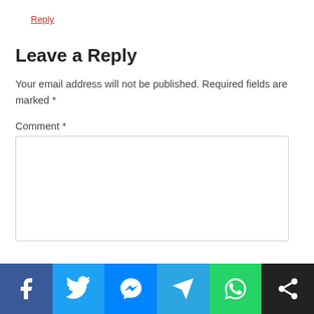Reply
Leave a Reply
Your email address will not be published. Required fields are marked *
Comment *
[Figure (other): Social sharing bar with Facebook, Twitter, Messenger, Telegram, WhatsApp, and Share icons]